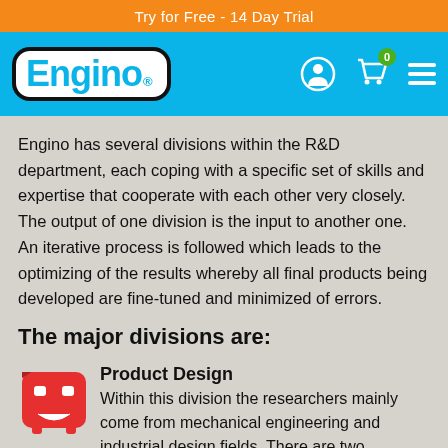Try for Free - 14 Day Trial
[Figure (logo): Engino logo with nav icons (user, cart with 0, hamburger menu) on blue background]
Engino has several divisions within the R&D department, each coping with a specific set of skills and expertise that cooperate with each other very closely. The output of one division is the input to another one. An iterative process is followed which leads to the optimizing of the results whereby all final products being developed are fine-tuned and minimized of errors.
The major divisions are:
Product Design
Within this division the researchers mainly come from mechanical engineering and industrial design fields. There are two